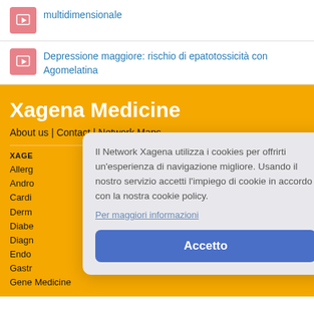multidimensionale
Depressione maggiore: rischio di epatotossicità con Agomelatina
Xagena Medicine
About us | Contact | Network Maps
XAGE...
Allerg
Andro
Cardi
Derm
Diabe
Diagn
Endo
Gastr
Gene Medicine
Il Network Xagena utilizza i cookies per offrirti un'esperienza di navigazione migliore. Usando il nostro servizio accetti l'impiego di cookie in accordo con la nostra cookie policy.
Per maggiori informazioni
Accetto